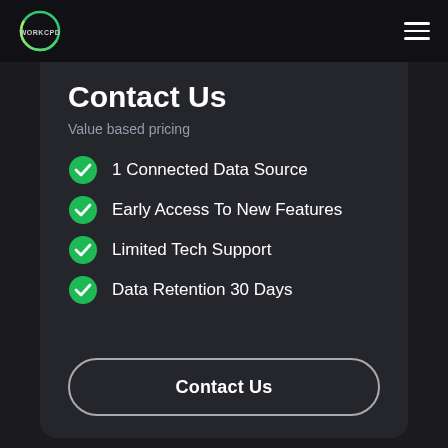WORKCPD
Contact Us
Value based pricing
1 Connected Data Source
Early Access To New Features
Limited Tech Support
Data Retention 30 Days
Contact Us